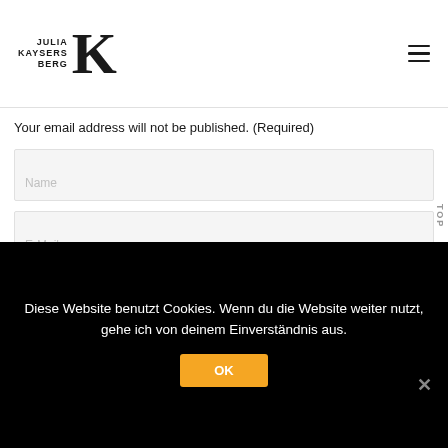Julia Kaysersberg JK
Your email address will not be published. (Required)
Name
E-Mail
Website
TOP
Diese Website benutzt Cookies. Wenn du die Website weiter nutzt, gehe ich von deinem Einverständnis aus.
OK